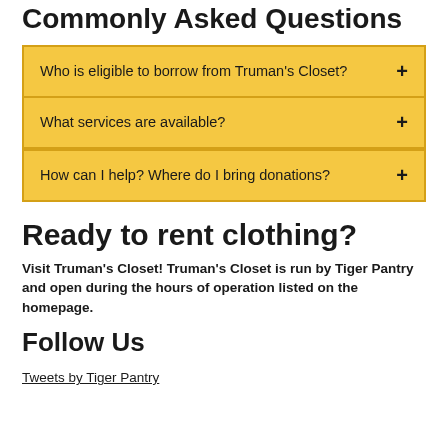Commonly Asked Questions
Who is eligible to borrow from Truman's Closet? +
What services are available? +
How can I help? Where do I bring donations? +
Ready to rent clothing?
Visit Truman's Closet! Truman's Closet is run by Tiger Pantry and open during the hours of operation listed on the homepage.
Follow Us
Tweets by Tiger Pantry